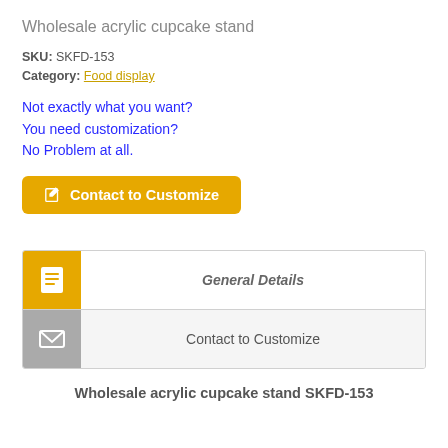Wholesale acrylic cupcake stand
SKU: SKFD-153
Category: Food display
Not exactly what you want?
You need customization?
No Problem at all.
[Figure (other): Yellow button labeled 'Contact to Customize' with an edit/form icon on the left]
[Figure (other): Tab panel with two rows: first row has yellow icon with document lines and label 'General Details' in bold italic; second row has gray mail/envelope icon and label 'Contact to Customize']
Wholesale acrylic cupcake stand SKFD-153